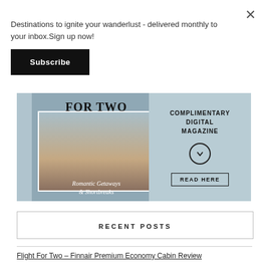Destinations to ignite your wanderlust - delivered monthly to your inbox.Sign up now!
Subscribe
[Figure (illustration): Magazine banner for 'Flight For Two' showing a couple embracing by the sea on the left cover, with text 'Romantic Getaways & Shortbreaks', and on the right side: 'COMPLIMENTARY DIGITAL MAGAZINE' with a chevron circle icon and a 'READ HERE' button. The text 'FOR TWO' is visible at the top of the cover.]
RECENT POSTS
Flight For Two – Finnair Premium Economy Cabin Review